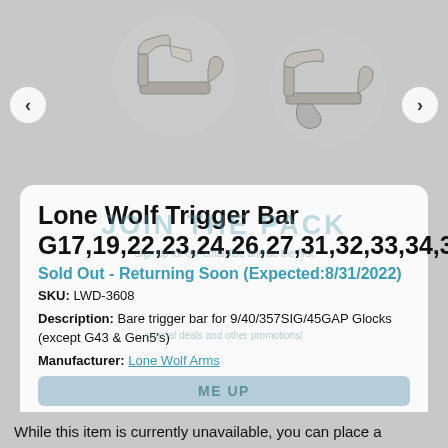[Figure (photo): Two photos of metal trigger bars on a gray background, with left and right navigation arrows]
Lone Wolf Trigger Bar G17,19,22,23,24,26,27,31,32,33,34,35,
Sold Out - Returning Soon (Expected:8/31/2022)
SKU: LWD-3608
Description: Bare trigger bar for 9/40/357SIG/45GAP Glocks (except G43 & Gen5's)
Manufacturer: Lone Wolf Arms
While this item is currently unavailable, you can place a